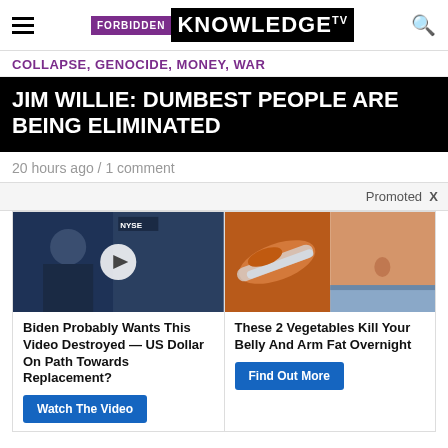Forbidden Knowledge TV
COLLAPSE, GENOCIDE, MONEY, WAR
JIM WILLIE: DUMBEST PEOPLE ARE BEING ELIMINATED
20 hours ago / 1 comment
Promoted X
[Figure (screenshot): Two promotional ad images side by side: left shows a man in a TV studio with a play button overlay; right shows a spoon with spice and a woman's midsection]
Biden Probably Wants This Video Destroyed — US Dollar On Path Towards Replacement?
Watch The Video
These 2 Vegetables Kill Your Belly And Arm Fat Overnight
Find Out More